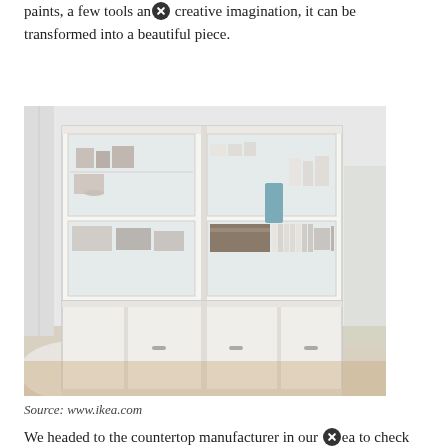paints, a few tools and creative imagination, it can be transformed into a beautiful piece.
[Figure (photo): A large white IKEA storage unit combination with glass sliding doors on upper cabinets showing shelves with dishes, a blue vase, and books, and solid sliding doors on lower cabinets, set in a room with a white sofa, plant, and area rug.]
Source: www.ikea.com
We headed to the countertop manufacturer in our area to check out